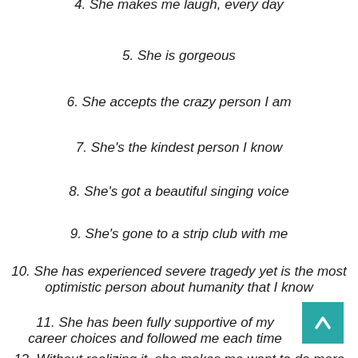4. She makes me laugh, every day
5. She is gorgeous
6. She accepts the crazy person I am
7. She's the kindest person I know
8. She's got a beautiful singing voice
9. She's gone to a strip club with me
10. She has experienced severe tragedy yet is the most optimistic person about humanity that I know
11. She has been fully supportive of my career choices and followed me each time
12. Without realizing it, she makes me want to do more for her than I have ever wanted to do for anyone